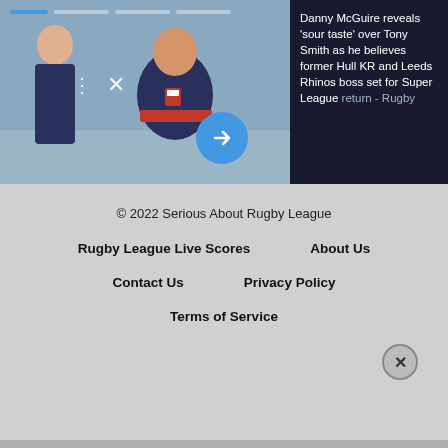[Figure (photo): Photo of a man in a dark navy jacket with red stripe (rugby coach) talking to players, overlaid with UI elements including progress bars, controls, arrow button, and a headline card]
Danny McGuire reveals 'sour taste' over Tony Smith as he believes former Hull KR and Leeds Rhinos boss set for Super League return - Rugby
© 2022 Serious About Rugby League
Rugby League Live Scores
About Us
Contact Us
Privacy Policy
Terms of Service